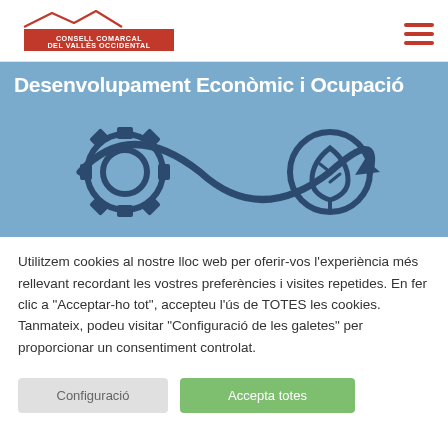Consell Comarcal del Vallès Occidental
Desenvolupament Econòmic i Ocupació
[Figure (illustration): Circular economy / sustainability illustration showing a gear icon and a leaf/tree icon connected by an infinity loop arrow, on a blue background]
Utilitzem cookies al nostre lloc web per oferir-vos l'experiència més rellevant recordant les vostres preferències i visites repetides. En fer clic a "Acceptar-ho tot", accepteu l'ús de TOTES les cookies. Tanmateix, podeu visitar "Configuració de les galetes" per proporcionar un consentiment controlat.
Configuració | Accepta totes